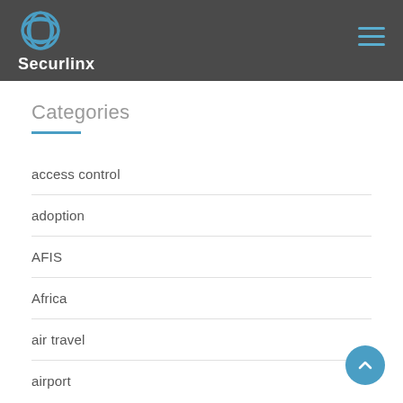Securlinx
Categories
access control
adoption
AFIS
Africa
air travel
airport